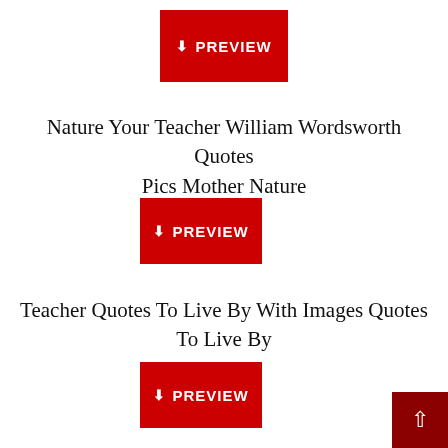[Figure (other): Red PREVIEW button with download icon]
Nature Your Teacher William Wordsworth Quotes Pics Mother Nature
[Figure (other): Red PREVIEW button with download icon]
Teacher Quotes To Live By With Images Quotes To Live By
[Figure (other): Red PREVIEW button with download icon]
[Figure (other): Dark red back-to-top arrow button in bottom right corner]